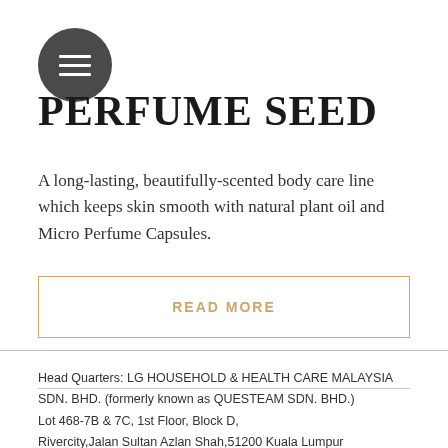[Figure (illustration): Dark grey circular menu/hamburger button icon with three white horizontal lines]
PERFUME SEED
A long-lasting, beautifully-scented body care line which keeps skin smooth with natural plant oil and Micro Perfume Capsules.
READ MORE
Head Quarters: LG HOUSEHOLD & HEALTH CARE MALAYSIA SDN. BHD. (formerly known as QUESTEAM SDN. BHD.) Lot 468-7B & 7C, 1st Floor, Block D, Rivercity,Jalan Sultan Azlan Shah,51200 Kuala Lumpur Tel: 603-4044 9266 | Fax: 603-4043 9102